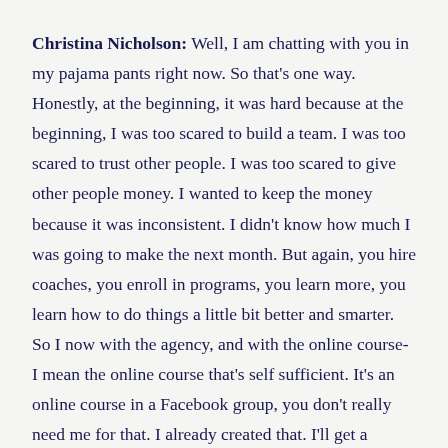Christina Nicholson: Well, I am chatting with you in my pajama pants right now. So that's one way. Honestly, at the beginning, it was hard because at the beginning, I was too scared to build a team. I was too scared to trust other people. I was too scared to give other people money. I wanted to keep the money because it was inconsistent. I didn't know how much I was going to make the next month. But again, you hire coaches, you enroll in programs, you learn more, you learn how to do things a little bit better and smarter. So I now with the agency, and with the online course- I mean the online course that's self sufficient. It's an online course in a Facebook group, you don't really need me for that. I already created that. I'll get a notification when you post in Facebook. So that's easy. The mentoring part of it, and the agency work is all possible because of my